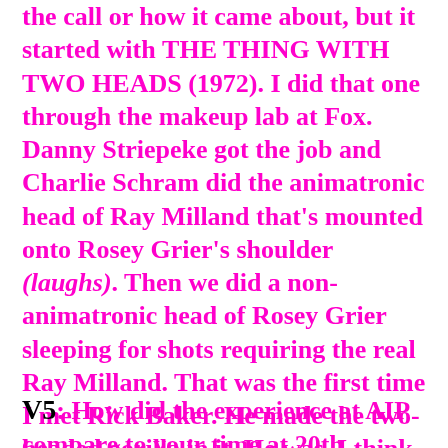the call or how it came about, but it started with THE THING WITH TWO HEADS (1972). I did that one through the makeup lab at Fox. Danny Striepeke got the job and Charlie Schram did the animatronic head of Ray Milland that's mounted onto Rosey Grier's shoulder (laughs). Then we did a non-animatronic head of Rosey Grier sleeping for shots requiring the real Ray Milland. That was the first time I met Rick Baker. He made the two-headed gorilla in it. He was, I think, 15 or 16 years old at that time.
V5: How did the experience at AIP compare to your time at 20th Century Fox?